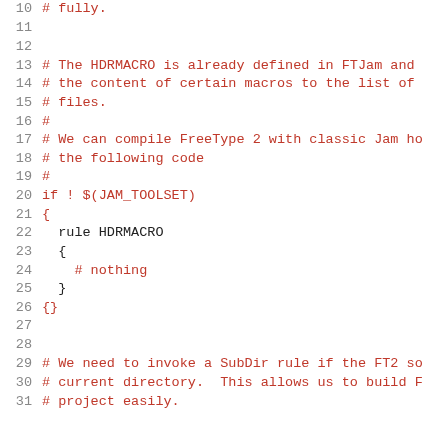Source code listing lines 10-31 of a Jam build file
10: # fully.
11: (empty)
12: (empty)
13: # The HDRMACRO is already defined in FTJam and
14: # the content of certain macros to the list of
15: # files.
16: #
17: # We can compile FreeType 2 with classic Jam ho
18: # the following code
19: #
20: if ! $(JAM_TOOLSET)
21: {
22:   rule HDRMACRO
23:   {
24:     # nothing
25:   }
26: }
27: (empty)
28: (empty)
29: # We need to invoke a SubDir rule if the FT2 so
30: # current directory.  This allows us to build F
31: # project easily.